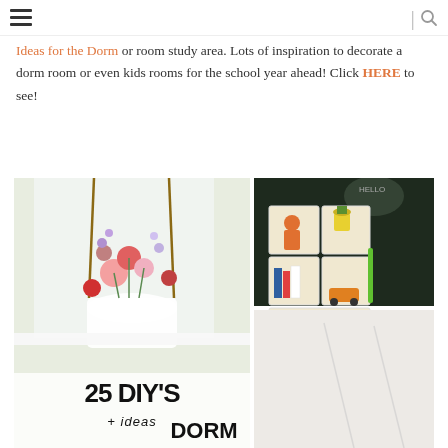navigation header with hamburger menu and search icon
Ideas for the Dorm or room study area. Lots of inspiration to decorate a dorm room or even kids rooms for the school year ahead! Click HERE to see!
[Figure (photo): Collage of dorm room DIY ideas: left side shows hanging flower/plant arrangement near a window; top right shows a modular shelving unit with colorful objects on a dark background; bottom right shows partial image; overlay text reads '25 DIY'S + ideas DORM']